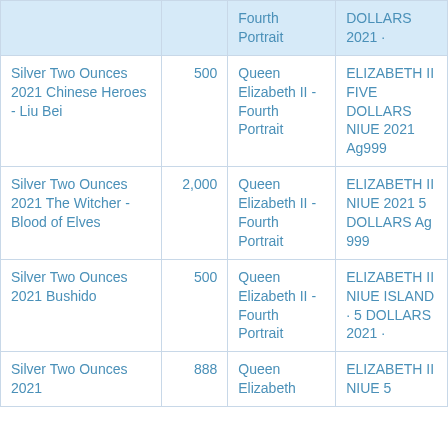| Name | Mintage | Obverse | Inscription |
| --- | --- | --- | --- |
|  |  | Fourth Portrait | DOLLARS 2021 · |
| Silver Two Ounces 2021 Chinese Heroes - Liu Bei | 500 | Queen Elizabeth II - Fourth Portrait | ELIZABETH II FIVE DOLLARS NIUE 2021 Ag999 |
| Silver Two Ounces 2021 The Witcher - Blood of Elves | 2,000 | Queen Elizabeth II - Fourth Portrait | ELIZABETH II NIUE 2021 5 DOLLARS Ag 999 |
| Silver Two Ounces 2021 Bushido | 500 | Queen Elizabeth II - Fourth Portrait | ELIZABETH II NIUE ISLAND · 5 DOLLARS 2021 · |
| Silver Two Ounces 2021 | 888 | Queen Elizabeth | ELIZABETH II NIUE 5 |